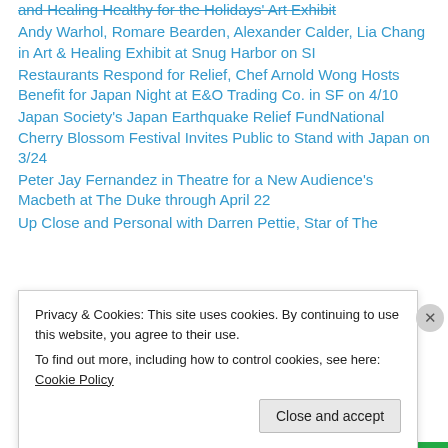and Healing Healthy for the Holidays' Art Exhibit
Andy Warhol, Romare Bearden, Alexander Calder, Lia Chang in Art & Healing Exhibit at Snug Harbor on SI
Restaurants Respond for Relief, Chef Arnold Wong Hosts Benefit for Japan Night at E&O Trading Co. in SF on 4/10
Japan Society's Japan Earthquake Relief FundNational Cherry Blossom Festival Invites Public to Stand with Japan on 3/24
Peter Jay Fernandez in Theatre for a New Audience's Macbeth at The Duke through April 22
Up Close and Personal with Darren Pettie, Star of The
Privacy & Cookies: This site uses cookies. By continuing to use this website, you agree to their use.
To find out more, including how to control cookies, see here: Cookie Policy
Close and accept